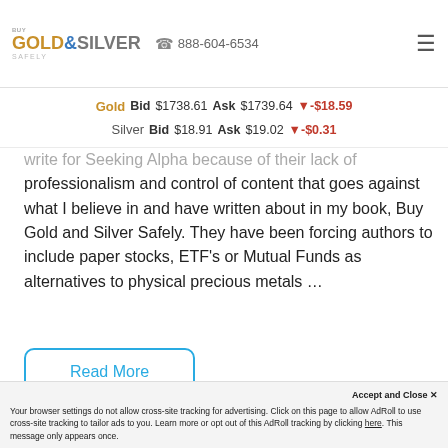Buy Gold & Silver Safely | 888-604-6534
Gold  Bid $1738.61  Ask $1739.64  ▼-$18.59
Silver  Bid $18.91  Ask $19.02  ▼-$0.31
write for Seeking Alpha because of their lack of professionalism and control of content that goes against what I believe in and have written about in my book, Buy Gold and Silver Safely. They have been forcing authors to include paper stocks, ETF's or Mutual Funds as alternatives to physical precious metals …
Read More
Accept and Close ×
Your browser settings do not allow cross-site tracking for advertising. Click on this page to allow AdRoll to use cross-site tracking to tailor ads to you. Learn more or opt out of this AdRoll tracking by clicking here. This message only appears once.